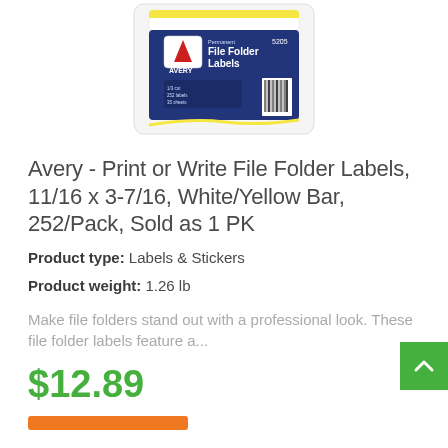[Figure (photo): Avery File Folder Labels product package photo showing a blue and white label packet with yellow bar design, product number 5205]
Avery - Print or Write File Folder Labels, 11/16 x 3-7/16, White/Yellow Bar, 252/Pack, Sold as 1 PK
Product type: Labels & Stickers
Product weight: 1.26 lb
Make file folders stand out with a professional look. These file folder labels feature a...
$12.89